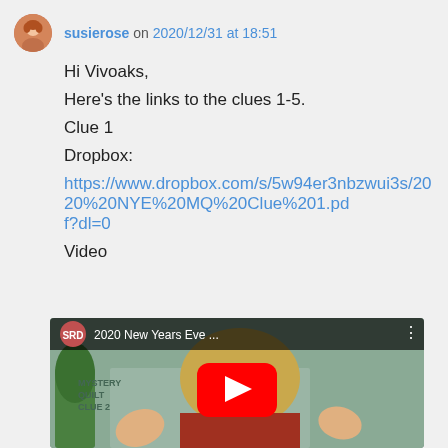susierose on 2020/12/31 at 18:51
Hi Vivoaks,
Here's the links to the clues 1-5.
Clue 1
Dropbox:
https://www.dropbox.com/s/5w94er3nbzwui3s/2020%20NYE%20MQ%20Clue%201.pdf?dl=0
Video
[Figure (screenshot): YouTube video thumbnail showing a woman with blonde hair and a red shirt, with text 'SRD' in a circle logo and title '2020 New Years Eve ...' and a red YouTube play button overlay. Background shows text 'MYSTERY QUILT CLUE 2'.]